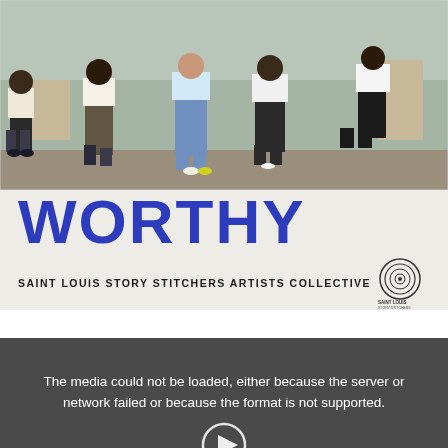[Figure (photo): Group photo of five young people standing/sitting on concrete pillars outdoors in a park setting with bare trees in the background. They are wearing casual clothes including white hoodies and jeans.]
WORTHY
SAINT LOUIS STORY STITCHERS ARTISTS COLLECTIVE
[Figure (logo): Saint Louis Story Stitchers Artists Collective circular logo with concentric circles and text.]
[Figure (screenshot): Video player with dark grey background showing error message: The media could not be loaded, either because the server or network failed or because the format is not supported. A play button icon is partially visible at the bottom.]
The media could not be loaded, either because the server or network failed or because the format is not supported.